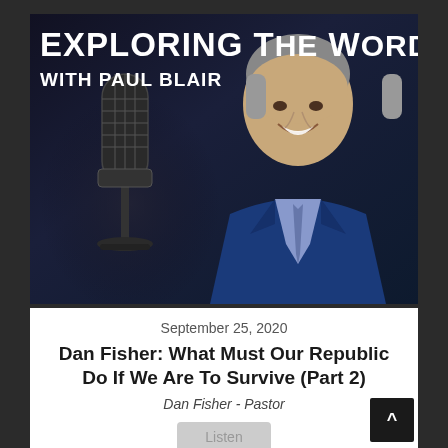[Figure (photo): Podcast cover art for 'Exploring The Word with Paul Blair' showing a vintage microphone on the left and a smiling middle-aged man in a blue suit with a tie on the right, against a dark background]
September 25, 2020
Dan Fisher: What Must Our Republic Do If We Are To Survive (Part 2)
Dan Fisher - Pastor